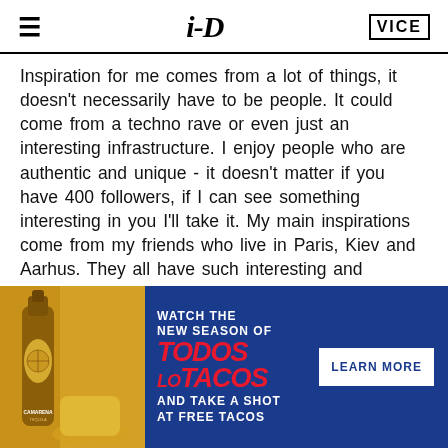≡  i-D  VICE
Inspiration for me comes from a lot of things, it doesn't necessarily have to be people. It could come from a techno rave or even just an interesting infrastructure. I enjoy people who are authentic and unique - it doesn't matter if you have 400 followers, if I can see something interesting in you I'll take it. My main inspirations come from my friends who live in Paris, Kiev and Aarhus. They all have such interesting and unpredictable personalities, which is quite intriguing to me. Music is also a very big part of my life and a lot of my
[Figure (infographic): Advertisement banner for 'Todos Los Tacos' new season featuring a Camarena tequila bottle with a cocktail, blue background with red and white text, and a 'Learn More' button.]